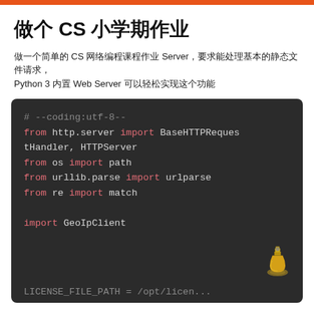做个 CS 小学期作业
做一个简单的 CS 网络编程课程作业 Server，要求能处理基本的静态文件请求，Python 3 内置 Web Server 可以轻松实现这个功能
[Figure (screenshot): Code block on dark background showing Python imports: # --coding:utf-8--, from http.server import BaseHTTPRequestHandler, HTTPServer, from os import path, from urllib.parse import urlparse, from re import match, import GeoIpClient, LICENSE_FILE_PATH = /opt/license...]